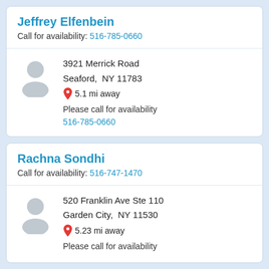Jeffrey Elfenbein
Call for availability: 516-785-0660
3921 Merrick Road
Seaford,  NY 11783
5.1 mi away
Please call for availability
516-785-0660
Rachna Sondhi
Call for availability: 516-747-1470
520 Franklin Ave Ste 110
Garden City,  NY 11530
5.23 mi away
Please call for availability